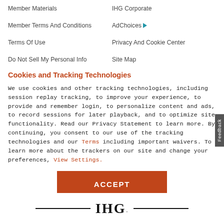Member Materials
IHG Corporate
Member Terms And Conditions
AdChoices
Terms Of Use
Privacy And Cookie Center
Do Not Sell My Personal Info
Site Map
Cookies and Tracking Technologies
We use cookies and other tracking technologies, including session replay tracking, to improve your experience, to provide and remember login, to personalize content and ads, to record sessions for later playback, and to optimize site functionality. Read our Privacy Statement to learn more. By continuing, you consent to our use of the tracking technologies and our Terms including important waivers. To learn more about the trackers on our site and change your preferences, View Settings.
[Figure (other): Orange ACCEPT button]
[Figure (logo): IHG logo with horizontal lines on either side]